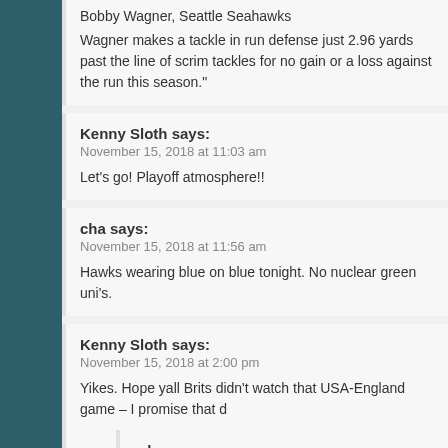Bobby Wagner, Seattle Seahawks

Wagner makes a tackle in run defense just 2.96 yards past the line of scrimmage. tackles for no gain or a loss against the run this season."
Kenny Sloth says:
November 15, 2018 at 11:03 am

Let's go! Playoff atmosphere!!
cha says:
November 15, 2018 at 11:56 am

Hawks wearing blue on blue tonight. No nuclear green uni's.
Kenny Sloth says:
November 15, 2018 at 2:00 pm

Yikes. Hope yall Brits didn't watch that USA-England game – I promise that d
sdcoug says:
November 15, 2018 at 5:12 pm

Sure it does. USMNT almost always turns into a kickball squad against. Pulisic back out there at least.